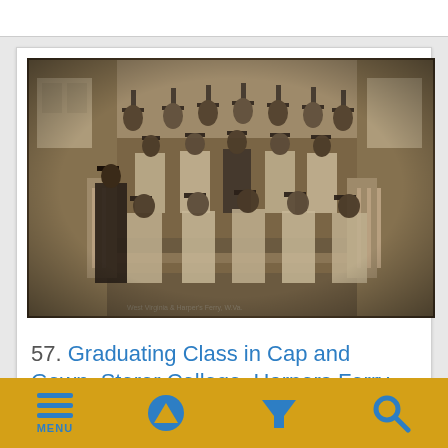[Figure (photo): Black and white / sepia historical photograph of a graduating class in cap and gown at Storer College, Harpers Ferry, W. Va. Large group of graduates posed in multiple rows on building steps, wearing academic robes and mortarboard caps.]
57. Graduating Class in Cap and Gown, Storer College, Harpers Ferry, W. Va.